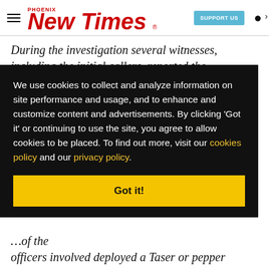Phoenix New Times — SUPPORT US
During the investigation several witnesses, including the initial callers, reported the
We use cookies to collect and analyze information on site performance and usage, and to enhance and customize content and advertisements. By clicking 'Got it' or continuing to use the site, you agree to allow cookies to be placed. To find out more, visit our cookies policy and our privacy policy.
Got it!
of the officers involved deployed a Taser or pepper